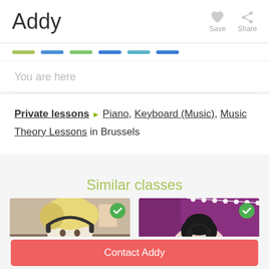Addy
Save  Share
You are here
Private lessons ▶ Piano, Keyboard (Music), Music Theory Lessons in Brussels
Similar classes
[Figure (photo): Profile photo of a person with blonde hair wearing headphones]
[Figure (photo): Profile photo of a person in front of purple curtain]
Contact Addy